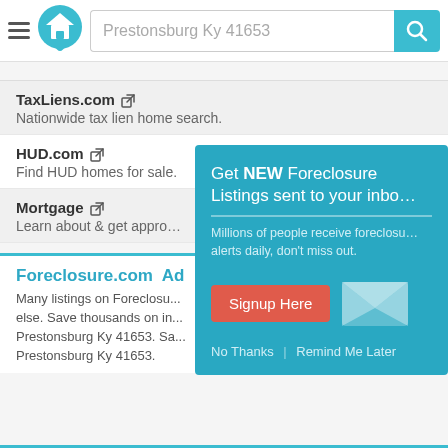Prestonsburg Ky 41653
TaxLiens.com — Nationwide tax lien home search.
HUD.com — Find HUD homes for sale.
Mortgage — Learn about & get approved.
Foreclosure.com Ad
Many listings on Foreclosure... else. Save thousands on in... Prestonsburg Ky 41653. Sa... Prestonsburg Ky 41653.
[Figure (screenshot): Popup modal: Get NEW Foreclosure Listings sent to your inbox. Millions of people receive foreclosure alerts daily, don't miss out. Signup Here button. No Thanks | Remind Me Later links. Envelope icon graphic.]